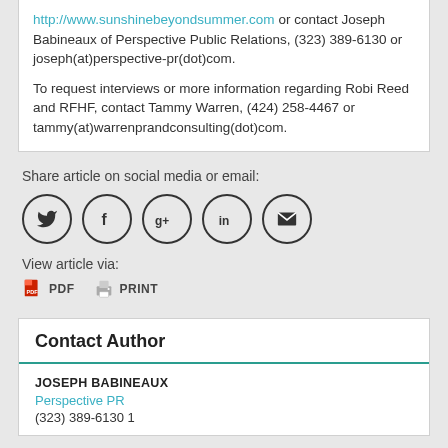http://www.sunshinebeyondsummer.com or contact Joseph Babineaux of Perspective Public Relations, (323) 389-6130 or joseph(at)perspective-pr(dot)com.
To request interviews or more information regarding Robi Reed and RFHF, contact Tammy Warren, (424) 258-4467 or tammy(at)warrenprandconsulting(dot)com.
Share article on social media or email:
[Figure (infographic): Five circular social media/share icons: Twitter bird, Facebook f, Google+, LinkedIn in, Email envelope]
View article via:
PDF   PRINT
Contact Author
JOSEPH BABINEAUX
Perspective PR
(323) 389-6130 1